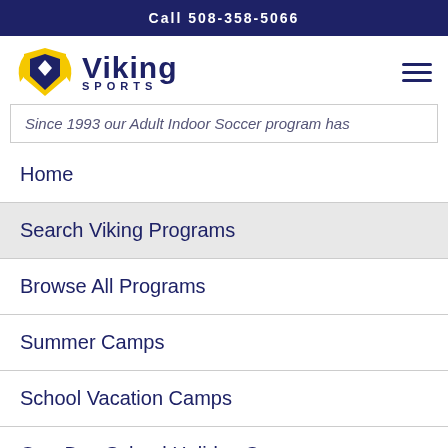Call 508-358-5066
[Figure (logo): Viking Sports logo with golden shield/wings icon and dark blue text]
Since 1993 our Adult Indoor Soccer program has
Home
Search Viking Programs
Browse All Programs
Summer Camps
School Vacation Camps
One-Day School Holiday Camps